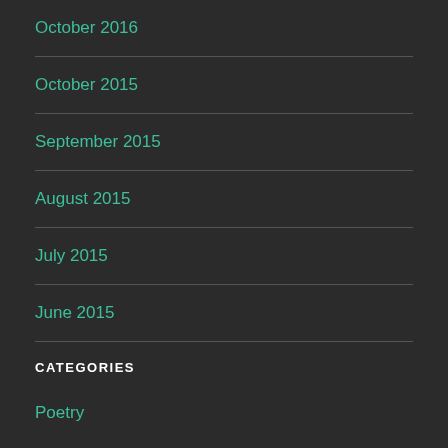October 2016
October 2015
September 2015
August 2015
July 2015
June 2015
CATEGORIES
Poetry